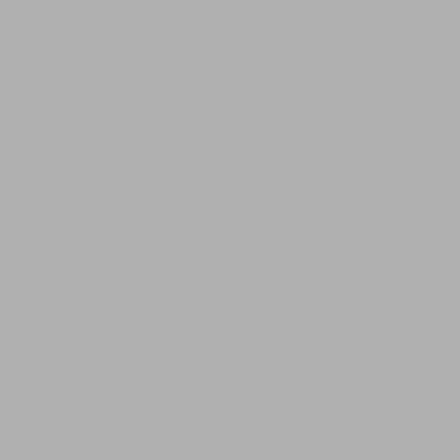[Figure (other): Gray panel on the left side of the page]
07:58- Graph: Cor
08:25- Solve the S
09:37- How Does T
10:25- How Well th
11:18- The Steady
12:30- Example: A
18:06- Simplifying
21:26- Two Limitin
24:40- Most Eleme
25:44- Biomolecul
26:17- Transition S
26:42- But How Do
27:06- Unomolecu
27:31- Unimolecul
28:05- How Does T
30:10- Applying th
31:10- The Strong
13:35- Can We Ap
34:14- What Does
37:26- What Does
38:04- The Kinetic
41:19- We Can Wr
43:29- Does it Wo
44:00- It Doesn't U